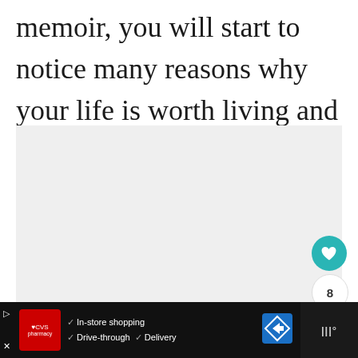memoir, you will start to notice many reasons why your life is worth living and celebrating.
[Figure (other): Light gray placeholder box for an image or content block]
[Figure (other): Teal circular heart/favorite button with heart icon, count of 8, and share button]
CVS Pharmacy ad — In-store shopping, Drive-through, Delivery